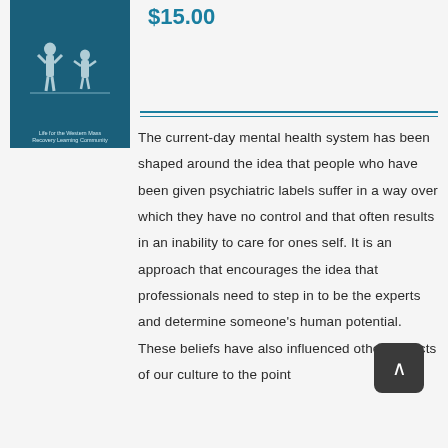[Figure (illustration): Book cover with dark teal background showing silhouette figures, with small caption text at bottom reading about Western Mass Recovery Learning Community]
$15.00
The current-day mental health system has been shaped around the idea that people who have been given psychiatric labels suffer in a way over which they have no control and that often results in an inability to care for ones self. It is an approach that encourages the idea that professionals need to step in to be the experts and determine someone's human potential. These beliefs have also influenced other aspects of our culture to the point